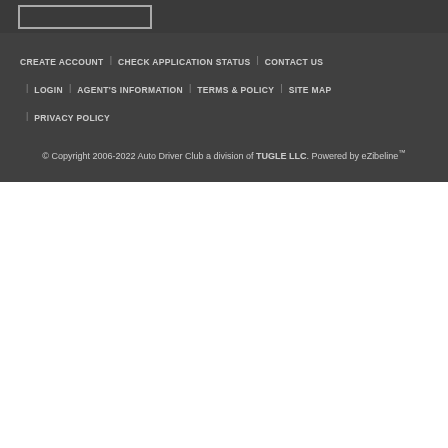CREATE ACCOUNT
CHECK APPLICATION STATUS
CONTACT US
LOGIN
AGENT'S INFORMATION
TERMS & POLICY
SITE MAP
PRIVACY POLICY
© Copyright 2006-2022 Auto Driver Club a division of TUGLE LLC. Powered by eZibeline™